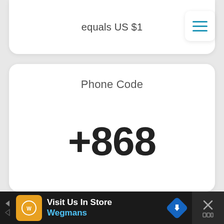equals US $1
Phone Code
+868
[Figure (screenshot): Advertisement banner for Wegmans: 'Visit Us In Store' with logo, navigation arrow icon, and close button]
Visit Us In Store Wegmans